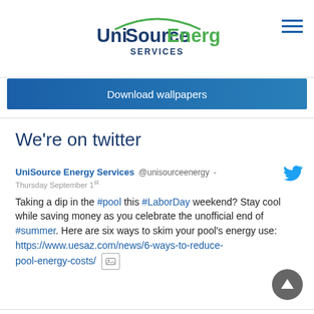UniSource Energy Services
[Figure (logo): UniSource Energy Services logo with green arc and text]
Download wallpapers
We're on twitter
UniSource Energy Services @unisourceenergy - Thursday September 1st
Taking a dip in the #pool this #LaborDay weekend? Stay cool while saving money as you celebrate the unofficial end of #summer. Here are six ways to skim your pool's energy use: https://www.uesaz.com/news/6-ways-to-reduce-pool-energy-costs/